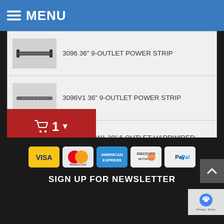MENU
3096 36" 9-OUTLET POWER STRIP
3096V1 36" 9-OUTLET POWER STRIP
H02006NVW1 20" 6 OUTLET HARDWIRED POWER STRIP
H03008NVW 30" 8 OUTLET HARDWIRED POWER STRIP
[Figure (infographic): Shopping cart icon with count '1' and dropdown arrow on red background]
[Figure (infographic): Payment method icons: Visa, MasterCard, American Express, Discover Network, PayPal]
SIGN UP FOR NEWSLETTER